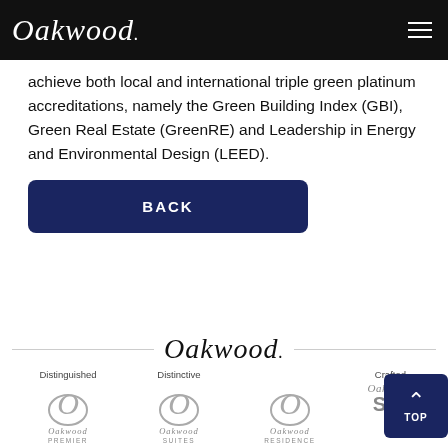Oakwood
achieve both local and international triple green platinum accreditations, namely the Green Building Index (GBI), Green Real Estate (GreenRE) and Leadership in Energy and Environmental Design (LEED).
BACK
[Figure (logo): Oakwood logo in italic serif script with horizontal divider lines on each side]
Distinguished
Distinctive
Crafted
[Figure (logo): Oakwood Premier sub-brand logo with stylized O and italic script]
[Figure (logo): Oakwood Suites sub-brand logo with stylized O and italic script]
[Figure (logo): Oakwood Residence sub-brand logo with stylized O and italic script]
[Figure (logo): Partial Oakwood Studios logo visible at right edge]